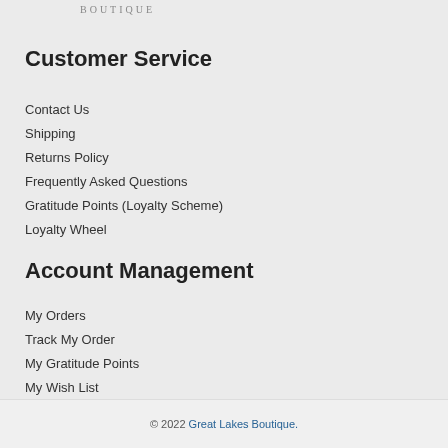BOUTIQUE
Customer Service
Contact Us
Shipping
Returns Policy
Frequently Asked Questions
Gratitude Points (Loyalty Scheme)
Loyalty Wheel
Account Management
My Orders
Track My Order
My Gratitude Points
My Wish List
© 2022 Great Lakes Boutique.